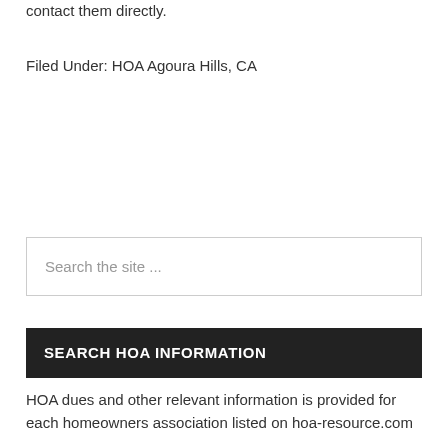contact them directly.
Filed Under: HOA Agoura Hills, CA
Search the site ...
SEARCH HOA INFORMATION
HOA dues and other relevant information is provided for each homeowners association listed on hoa-resource.com